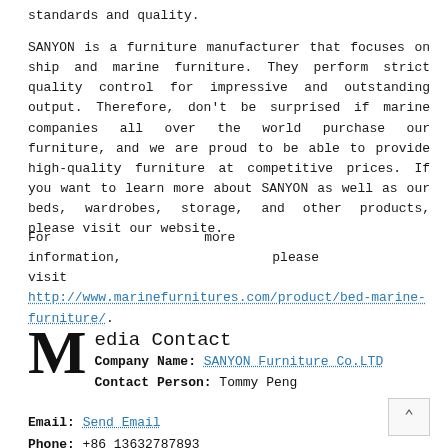standards and quality.
SANYON is a furniture manufacturer that focuses on ship and marine furniture. They perform strict quality control for impressive and outstanding output. Therefore, don't be surprised if marine companies all over the world purchase our furniture, and we are proud to be able to provide high-quality furniture at competitive prices. If you want to learn more about SANYON as well as our beds, wardrobes, storage, and other products, please visit our website.
For more information, please visit http://www.marinefurnitures.com/product/bed-marine-furniture/.
Media Contact
Company Name: SANYON Furniture Co.LTD
Contact Person: Tommy Peng
Email: Send Email
Phone: +86 13632787893